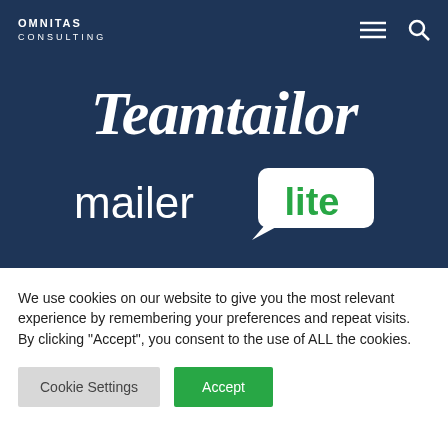OMNITAS CONSULTING
[Figure (logo): Teamtailor logo in white italic script font on dark blue background]
[Figure (logo): MailerLite logo: 'mailer' in white text and 'lite' in green text inside a white speech bubble, on dark blue background]
We use cookies on our website to give you the most relevant experience by remembering your preferences and repeat visits. By clicking “Accept”, you consent to the use of ALL the cookies.
Cookie Settings | Accept